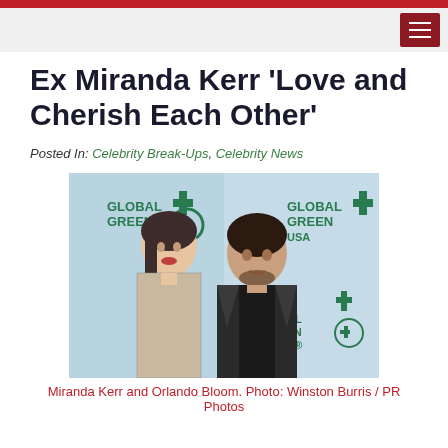Ex Miranda Kerr ‘Love and Cherish Each Other’
Posted In: Celebrity Break-Ups, Celebrity News
[Figure (photo): Miranda Kerr and Orlando Bloom posing together at a Global Green USA event. Miranda Kerr on the left wearing a patterned dress, Orlando Bloom on the right in dark clothing. Global Green USA banners visible in the background.]
Miranda Kerr and Orlando Bloom. Photo: Winston Burris / PR Photos